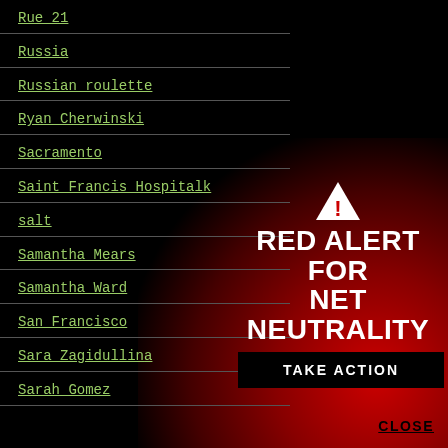Rue 21
Russia
Russian roulette
Ryan Cherwinski
Sacramento
Saint Francis Hospitalk
salt
Samantha Mears
Samantha Ward
San Francisco
Sara Zagidullina
Sarah Gomez
[Figure (infographic): Red Alert for Net Neutrality overlay with warning triangle icon, red background glow, Take Action button in black, and CLOSE label]
RED ALERT FOR NET NEUTRALITY
TAKE ACTION
CLOSE